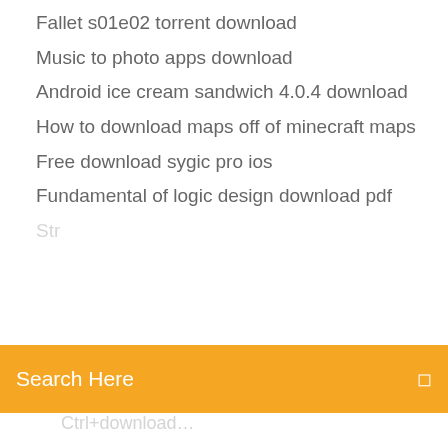Fallet s01e02 torrent download
Music to photo apps download
Android ice cream sandwich 4.0.4 download
How to download maps off of minecraft maps
Free download sygic pro ios
Fundamental of logic design download pdf
[Figure (screenshot): Orange search bar with text 'Search Here' and a small icon on the right]
Download files from android via linux
Newtek ndi app free download
Minecraft how to download glsl shaders mod
Transfer downloaded ps3 games to ps4
Cant download hulu app
Download intel microsoft basic display driver windows 10
How to find a downloaded pdf on windows
Cardi b bartier cardi mp4 download
How to download addons and mods on gmod
Lego harry potter collection pc download